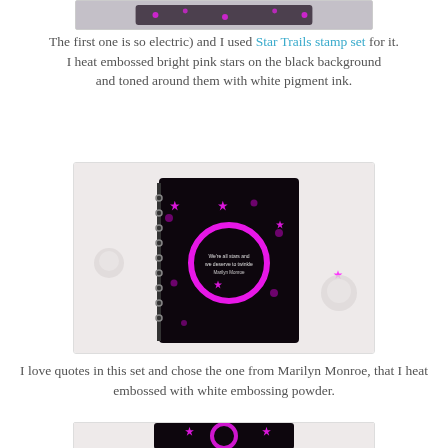[Figure (photo): Top cropped photo showing bottom edge of a card/notebook with star design on a white fur background]
The first one is so electric) and I used Star Trails stamp set for it.
I heat embossed bright pink stars on the black background and toned around them with white pigment ink.
[Figure (photo): Photo of a black card/notebook with bright pink heat-embossed stars and a pink circle stamp with Marilyn Monroe quote, placed on white fur background with candles]
I love quotes in this set and chose the one from Marilyn Monroe, that I heat embossed with white embossing powder.
[Figure (photo): Partial photo showing bottom portion of same black card/notebook with pink stars and pink circle stamp, on white fur background with candles]